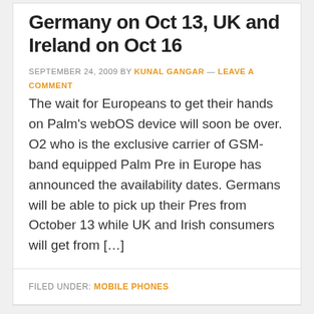Germany on Oct 13, UK and Ireland on Oct 16
SEPTEMBER 24, 2009 BY KUNAL GANGAR — LEAVE A COMMENT
The wait for Europeans to get their hands on Palm's webOS device will soon be over. O2 who is the exclusive carrier of GSM-band equipped Palm Pre in Europe has announced the availability dates. Germans will be able to pick up their Pres from October 13 while UK and Irish consumers will get from […]
FILED UNDER: MOBILE PHONES